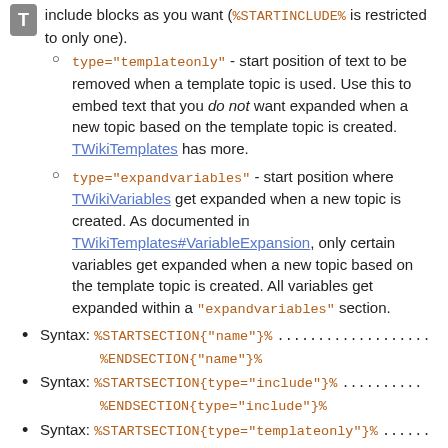include blocks as you want (%STARTINCLUDE% is restricted to only one).
type="templateonly" - start position of text to be removed when a template topic is used. Use this to embed text that you do not want expanded when a new topic based on the template topic is created. TWikiTemplates has more.
type="expandvariables" - start position where TWikiVariables get expanded when a new topic is created. As documented in TWikiTemplates#VariableExpansion, only certain variables get expanded when a new topic based on the template topic is created. All variables get expanded within a "expandvariables" section.
Syntax: %STARTSECTION{"name"}% ................... %ENDSECTION{"name"}%
Syntax: %STARTSECTION{type="include"}% .......... %ENDSECTION{type="include"}%
Syntax: %STARTSECTION{type="templateonly"}% ...... %ENDSECTION{type="templateonly"}%
Syntax: %STARTSECTION{type="expandvariables"}% ... %ENDSECTION{type="expandvariables"}%